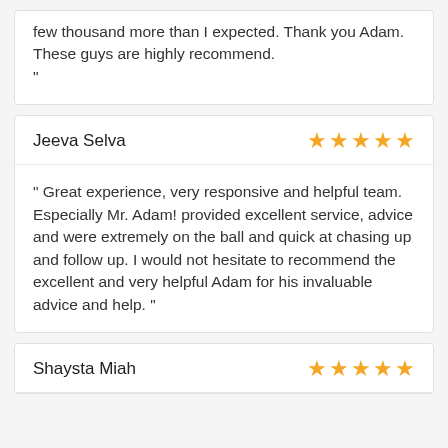few thousand more than I expected. Thank you Adam. These guys are highly recommend. "
Jeeva Selva
5 stars
" Great experience, very responsive and helpful team. Especially Mr. Adam! provided excellent service, advice and were extremely on the ball and quick at chasing up and follow up. I would not hesitate to recommend the excellent and very helpful Adam for his invaluable advice and help. "
Shaysta Miah
5 stars